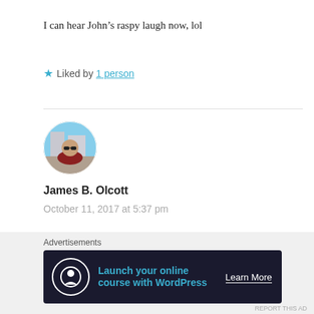I can hear John’s raspy laugh now, lol
★ Liked by 1 person
[Figure (photo): Round avatar photo of James B. Olcott, a person wearing sunglasses outdoors]
James B. Olcott
October 11, 2017 at 5:37 pm
John would have loved that comment!
Advertisements
[Figure (screenshot): Dark advertisement banner: Launch your online course with WordPress. Learn More button.]